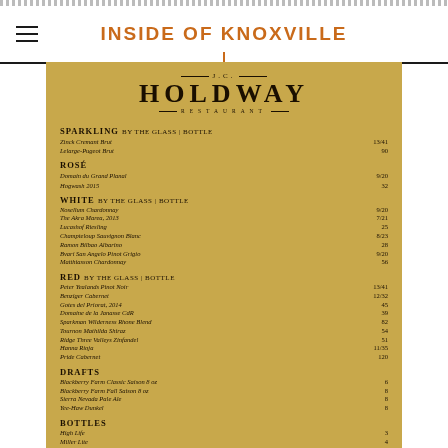INSIDE OF KNOXVILLE
J.C. HOLDWAY RESTAURANT
SPARKLING BY THE GLASS | BOTTLE
Zinck Cremant Brut 13/41
Lelarge-Pugeot Brut 90
ROSÉ
Domain du Grand Planal 9/20
Hogwash 2015 32
WHITE BY THE GLASS | BOTTLE
Nosellum Chardonnay 9/20
The Akra Marea, 2013 7/21
Lucashof Riesling 25
Champteloup Sauvignon Blanc 8/23
Ramon Bilbao Albarino 28
Bvari San Angelo Pinot Grigio 9/20
Matthiasson Chardonnay 56
RED BY THE GLASS | BOTTLE
Peter Yealands Pinot Noir 13/41
Benziger Cabernet 12/32
Gotes del Priorat, 2014 45
Domaine de la Janasse CdR 39
Sparkman Wilderness Rhone Blend 82
Tournon Mathilda Shiraz 54
Ridge Three Valleys Zinfandel 51
Hanna Rioja 11/35
Pride Cabernet 120
DRAFTS
Blackberry Farm Classic Saison 8 oz 6
Blackberry Farm Fall Saison 8 oz 8
Sierra Nevada Pale Ale 8
Yee-Haw Dunkel 8
BOTTLES
High Life 3
Miller Lite 4